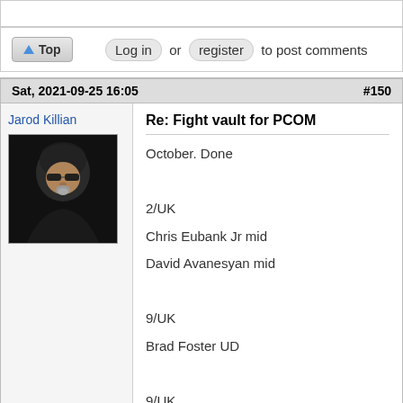Log in or register to post comments
Sat, 2021-09-25 16:05  #150
Jarod Killian
[Figure (photo): Profile photo of Jarod Killian, a man wearing a hoodie and sunglasses]
Re: Fight vault for PCOM
October. Done

2/UK
Chris Eubank Jr mid
David Avanesyan mid

9/UK
Brad Foster UD

9/UK
Liam Smith MD
Troy Williamson late
Kieron Conway UD

9/Vegas
Deontay Wilder mid